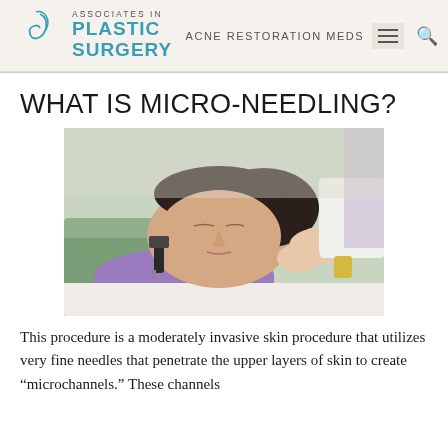ASSOCIATES IN PLASTIC SURGERY | ACNE RESTORATION MEDS
WHAT IS MICRO-NEEDLING?
[Figure (photo): A woman lying down receiving a micro-needling treatment on her face. A practitioner in a white coat is applying a micro-needling device to the woman's cheek. The woman has her eyes closed and appears relaxed. The setting is a medical/aesthetic clinic.]
This procedure is a moderately invasive skin procedure that utilizes very fine needles that penetrate the upper layers of skin to create “microchannels.” These channels